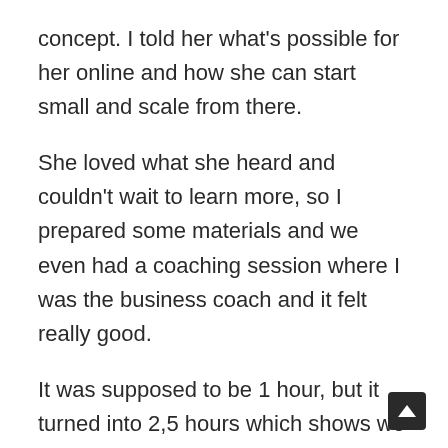concept. I told her what's possible for her online and how she can start small and scale from there.
She loved what she heard and couldn't wait to learn more, so I prepared some materials and we even had a coaching session where I was the business coach and it felt really good.
It was supposed to be 1 hour, but it turned into 2,5 hours which shows we both enjoyed the process. I was literally drained after that but in a good way.
Anyways, she also started practicing coaching with people in her life interested in spirituality